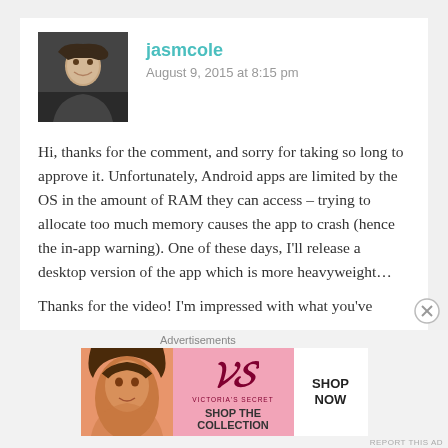[Figure (photo): Black and white avatar photo of a young man]
jasmcole
August 9, 2015 at 8:15 pm
Hi, thanks for the comment, and sorry for taking so long to approve it. Unfortunately, Android apps are limited by the OS in the amount of RAM they can access – trying to allocate too much memory causes the app to crash (hence the in-app warning). One of these days, I'll release a desktop version of the app which is more heavyweight…
Thanks for the video! I'm impressed with what you've
Advertisements
[Figure (photo): Victoria's Secret advertisement banner with model and SHOP THE COLLECTION / SHOP NOW text]